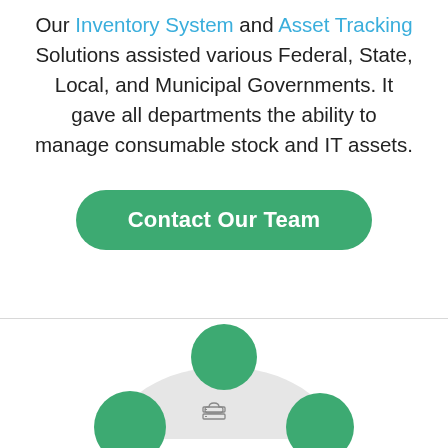Our Inventory System and Asset Tracking Solutions assisted various Federal, State, Local, and Municipal Governments. It gave all departments the ability to manage consumable stock and IT assets.
[Figure (other): Green rounded rectangle button labeled 'Contact Our Team']
[Figure (infographic): Diagram showing three green circles arranged in a triangle with a light gray arc background and a cloud/server icon in the center; caption reads 'CLOUD BASED AND']